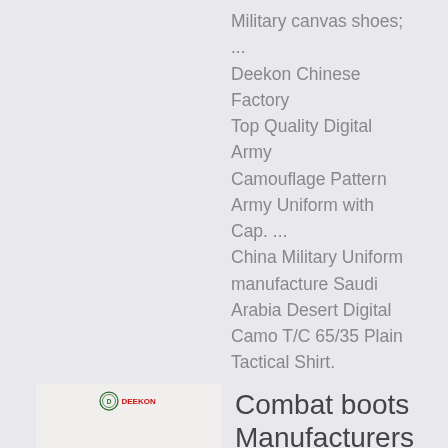Military canvas shoes; ... Deekon Chinese Factory Top Quality Digital Army Camouflage Pattern Army Uniform with Cap. ... China Military Uniform manufacture Saudi Arabia Desert Digital Camo T/C 65/35 Plain Tactical Shirt.
[Figure (photo): Product photo of a navy blue polo shirt with Deekon logo in top left corner]
Combat boots Manufacturers & Suppliers, China combat